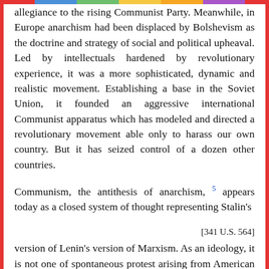allegiance to the rising Communist Party. Meanwhile, in Europe anarchism had been displaced by Bolshevism as the doctrine and strategy of social and political upheaval. Led by intellectuals hardened by revolutionary experience, it was a more sophisticated, dynamic and realistic movement. Establishing a base in the Soviet Union, it founded an aggressive international Communist apparatus which has modeled and directed a revolutionary movement able only to harass our own country. But it has seized control of a dozen other countries.
Communism, the antithesis of anarchism, [5] appears today as a closed system of thought representing Stalin's
[341 U.S. 564]
version of Lenin's version of Marxism. As an ideology, it is not one of spontaneous protest arising from American working-class experience. It is a complicated system of assumptions, based